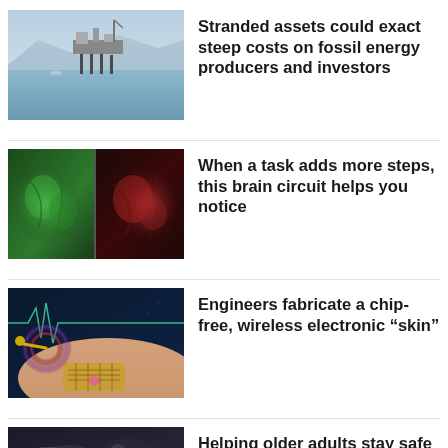[Figure (photo): An offshore oil platform standing in calm blue water with hazy mountains in the background]
Stranded assets could exact steep costs on fossil energy producers and investors
[Figure (photo): Two side-by-side scientific images of what appears to be brain or biological tissue, one in green light and one in red light]
When a task adds more steps, this brain circuit helps you notice
[Figure (photo): A flexible electronic skin patch on a human arm with wireless signal indicators and circuit patterns, on a dark blue background]
Engineers fabricate a chip-free, wireless electronic “skin”
[Figure (photo): Partial photo of an older adult, cropped at bottom of page]
Helping older adults stay safe